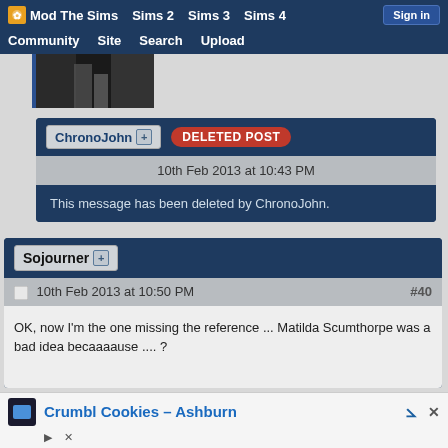Mod The Sims | Sims 2 | Sims 3 | Sims 4 | Sign in | Community | Site | Search | Upload
[Figure (photo): Partially visible dark image at top of page, cropped]
ChronoJohn [+] DELETED POST
10th Feb 2013 at 10:43 PM
This message has been deleted by ChronoJohn.
Sojourner [+]
10th Feb 2013 at 10:50 PM #40
OK, now I'm the one missing the reference ... Matilda Scumthorpe was a bad idea becaaaause .... ?
Crumbl Cookies – Ashburn